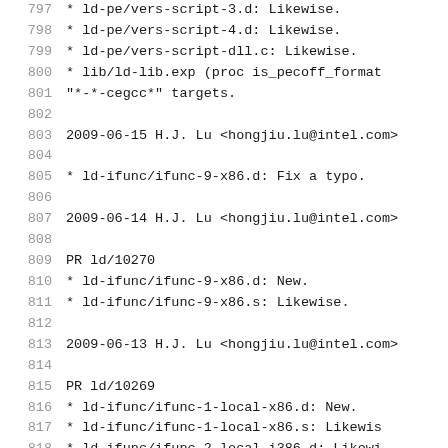797   * ld-pe/vers-script-3.d: Likewise.
798   * ld-pe/vers-script-4.d: Likewise.
799   * ld-pe/vers-script-dll.c: Likewise.
800   * lib/ld-lib.exp (proc is_pecoff_format
801         "*-*-cegcc*" targets.
802
803   2009-06-15  H.J. Lu  <hongjiu.lu@intel.com>
804
805         * ld-ifunc/ifunc-9-x86.d: Fix a typo.
806
807   2009-06-14  H.J. Lu  <hongjiu.lu@intel.com>
808
809         PR ld/10270
810         * ld-ifunc/ifunc-9-x86.d: New.
811         * ld-ifunc/ifunc-9-x86.s: Likewise.
812
813   2009-06-13  H.J. Lu  <hongjiu.lu@intel.com>
814
815         PR ld/10269
816         * ld-ifunc/ifunc-1-local-x86.d: New.
817         * ld-ifunc/ifunc-1-local-x86.s: Likewis
818         * ld-ifunc/ifunc-2-local-i386.d: Likewi